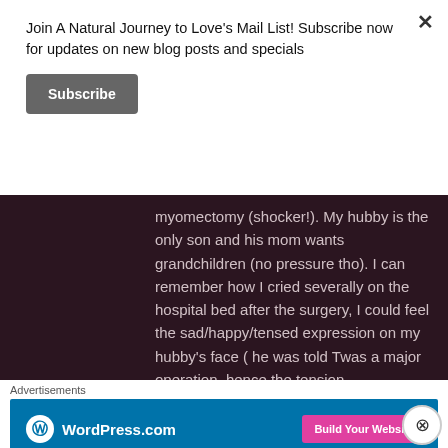Join A Natural Journey to Love's Mail List! Subscribe now for updates on new blog posts and specials
Subscribe
myomectomy (shocker!). My hubby is the only son and his mom wants grandchildren (no pressure tho). I can remember how I cried severally on the hospital bed after the surgery, I could feel the sad/happy/tensed expression on my hubby's face ( he was told Twas a major operation, hence the tension
Advertisements
[Figure (screenshot): WordPress.com advertisement banner with blue background, WordPress logo on the left, and a pink 'Build Your Website' button on the right]